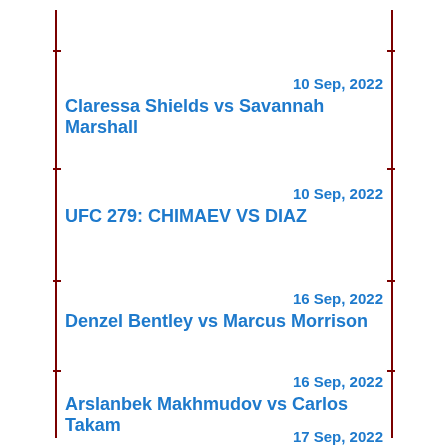10 Sep, 2022
Claressa Shields vs Savannah Marshall
10 Sep, 2022
UFC 279: CHIMAEV VS DIAZ
16 Sep, 2022
Denzel Bentley vs Marcus Morrison
16 Sep, 2022
Arslanbek Makhmudov vs Carlos Takam
17 Sep, 2022